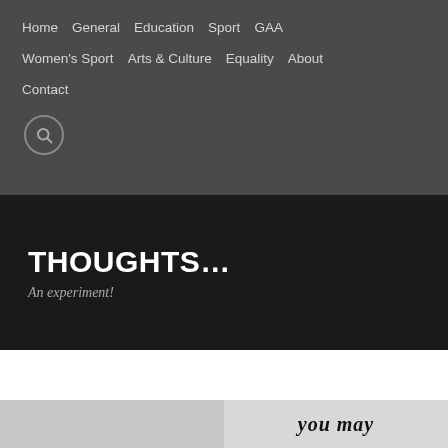Home   General   Education   Sport   GAA   Women's Sport   Arts & Culture   Equality   About   Contact
THOUGHTS...
An experiment!
GAA  SPORT
Privacy & Cookies: This site uses cookies. By continuing to use this website, you agree to their use.
To find out more, including how to control cookies, see here: Cookie Policy
Close and accept
[Figure (photo): Partial image strip at bottom showing text 'you may']